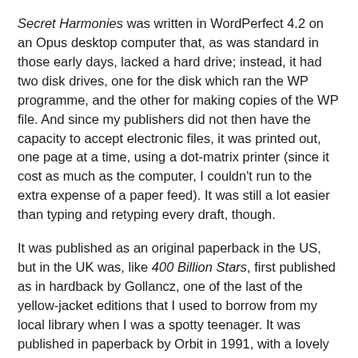Secret Harmonies was written in WordPerfect 4.2 on an Opus desktop computer that, as was standard in those early days, lacked a hard drive; instead, it had two disk drives, one for the disk which ran the WP programme, and the other for making copies of the WP file. And since my publishers did not then have the capacity to accept electronic files, it was printed out, one page at a time, using a dot-matrix printer (since it cost as much as the computer, I couldn't run to the extra expense of a paper feed). It was still a lot easier than typing and retyping every draft, though.
It was published as an original paperback in the US, but in the UK was, like 400 Billion Stars, first published as in hardback by Gollancz, one of the last of the yellow-jacket editions that I used to borrow from my local library when I was a spotty teenager. It was published in paperback by Orbit in 1991, with a lovely cover by Peter Ellson, reprinted in 1997 and thereafter fell out of print. Until now, when it has been revived as an ebook edition by the Gollancz Gateway, some 33 years after its first publication, in this wonderful, strange, terrible future of ours.